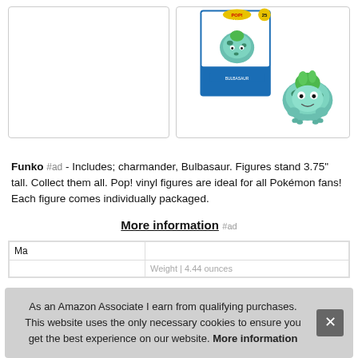[Figure (photo): Two product image boxes side by side: left box is empty white, right box shows a Funko Pop Bulbasaur figure in packaging plus a standalone Bulbasaur figure]
Funko #ad - Includes; charmander, Bulbasaur. Figures stand 3.75" tall. Collect them all. Pop! vinyl figures are ideal for all Pokémon fans! Each figure comes individually packaged.
More information #ad
| Ma |  |
|  | Weight | 4.44 ounces |
As an Amazon Associate I earn from qualifying purchases. This website uses the only necessary cookies to ensure you get the best experience on our website. More information